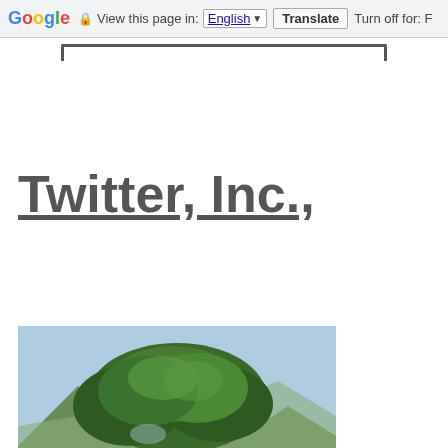Google  View this page in: English ▼  Translate  Turn off for: F
Twitter, Inc.,
[Figure (photo): A large ancient banyan tree with sweeping aerial roots and dense green canopy, set against a mountainous background with a blue sky.]